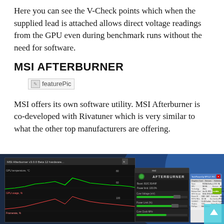Here you can see the V-Check points which when the supplied lead is attached allows direct voltage readings from the GPU even during benchmark runs without the need for software.
MSI AFTERBURNER
[Figure (screenshot): Broken image placeholder labeled featurePic]
MSI offers its own software utility. MSI Afterburner is co-developed with Rivatuner which is very similar to what the other top manufacturers are offering.
[Figure (screenshot): Screenshot of MSI Afterburner v3.0.0 Beta 12 software interface showing GPU temperature graph, MSI Afterburner control panel with Core Voltage and Power Limit sliders, and TechPowerUp GPU-Z info panel showing NVIDIA GeForce GTX 760 details.]